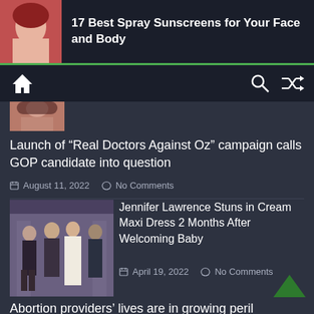17 Best Spray Sunscreens for Your Face and Body
[Figure (screenshot): Navigation bar with home icon, search icon, and shuffle icon on dark background]
[Figure (photo): Partial image visible below navigation]
Launch of “Real Doctors Against Oz” campaign calls GOP candidate into question
August 11, 2022   No Comments
[Figure (photo): Jennifer Lawrence walking with others, wearing a cream maxi dress]
Jennifer Lawrence Stuns in Cream Maxi Dress 2 Months After Welcoming Baby
April 19, 2022   No Comments
Abortion providers’ lives are in growing peril following Roe reversal: report
July 3, 2022   No Comments
Erling Haaland’s brilliant debut, Ilkay Gundogan dazzles as Man City open season with big win at West Ham